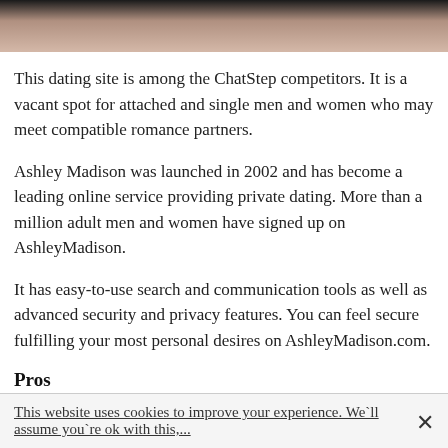[Figure (photo): Partial photo of a person's hand with a ring, dark background at top, cropped at the top of the page]
This dating site is among the ChatStep competitors. It is a vacant spot for attached and single men and women who may meet compatible romance partners.
Ashley Madison was launched in 2002 and has become a leading online service providing private dating. More than a million adult men and women have signed up on AshleyMadison.
It has easy-to-use search and communication tools as well as advanced security and privacy features. You can feel secure fulfilling your most personal desires on AshleyMadison.com.
Pros
Messaging is free for women;
Free visit to profiles;
This website uses cookies to improve your experience. We`ll assume you`re ok with this,....